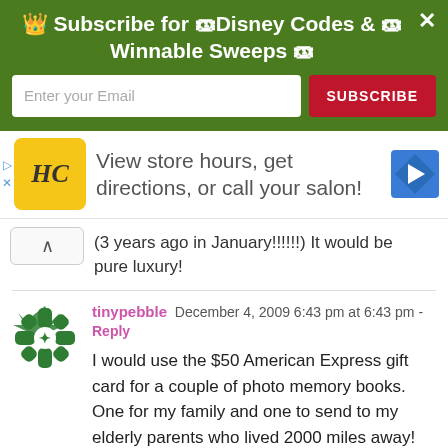[Figure (screenshot): Green subscription banner with crown emoji, text 'Subscribe for Disney Codes & Winnable Sweeps', email input field, and red SUBSCRIBE button]
[Figure (screenshot): Advertisement strip showing HC salon logo, text 'View store hours, get directions, or call your salon!' with navigation arrow icon]
(3 years ago in January!!!!!!) It would be pure luxury!
tinypebble  December 4, 2009 6:43 pm at 6:43 pm - Reply
I would use the $50 American Express gift card for a couple of photo memory books. One for my family and one to send to my elderly parents who lived 2000 miles away!